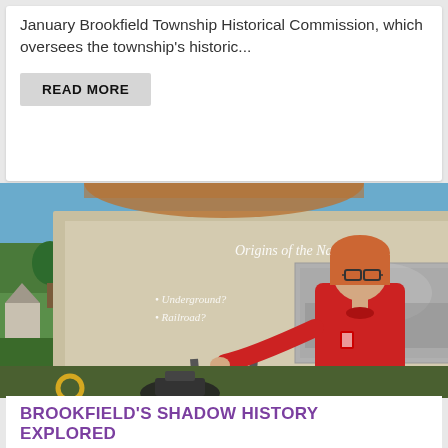January Brookfield Township Historical Commission, which oversees the township's historic...
READ MORE
[Figure (photo): A woman in a red shirt pointing at a projection screen showing a presentation slide titled 'Origins of the Name' with bullet points 'Underground?' and 'Railroad?' and a historical black-and-white photograph. The setting appears to be outdoors at a historical event.]
BROOKFIELD'S SHADOW HISTORY EXPLORED